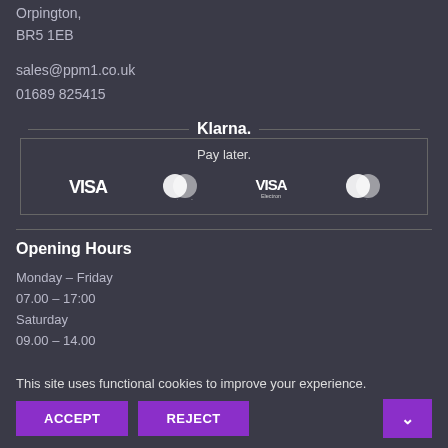Orpington,
BR5 1EB
sales@ppm1.co.uk
01689 825415
[Figure (logo): Klarna Pay later payment methods banner showing VISA, Mastercard, VISA Electron, Maestro logos]
Opening Hours
Monday – Friday
07.00 – 17:00
Saturday
09.00 – 14.00
This site uses functional cookies to improve your experience.